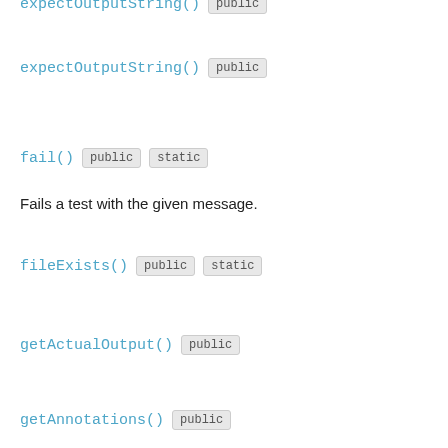expectOutputString() public
fail() public static
Fails a test with the given message.
fileExists() public static
getActualOutput() public
getAnnotations() public
Returns the annotations for this test.